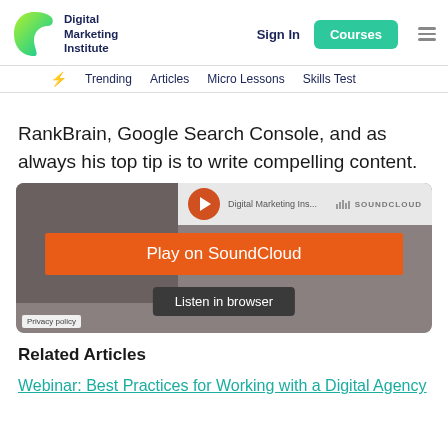Digital Marketing Institute — Sign In | Courses
Trending | Articles | Micro Lessons | Skills Test
RankBrain, Google Search Console, and as always his top tip is to write compelling content.
[Figure (screenshot): SoundCloud embedded audio player with orange 'Play on SoundCloud' button and 'Listen in browser' button]
Related Articles
Webinar: Best Practices for Working with a Digital Agency